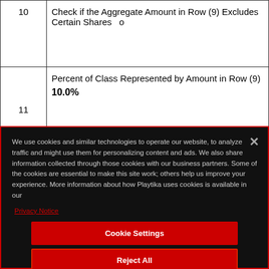| # | Content |
| --- | --- |
| 10 | Check if the Aggregate Amount in Row (9) Excludes Certain Shares  o |
| 11 | Percent of Class Represented by Amount in Row (9)

10.0% |
We use cookies and similar technologies to operate our website, to analyze traffic and might use them for personalizing content and ads. We also share information collected through those cookies with our business partners. Some of the cookies are essential to make this site work; others help us improve your experience. More information about how Playtika uses cookies is available in our
Privacy Notice
Cookie Settings
Reject All
Accept All Cookies